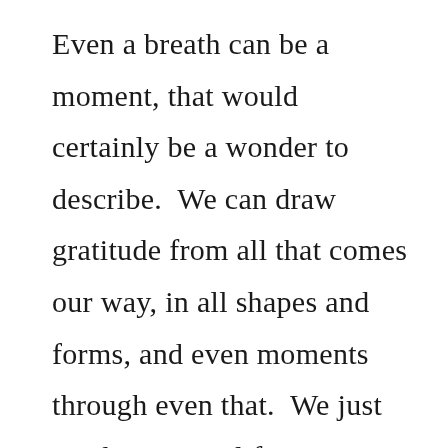Even a breath can be a moment, that would certainly be a wonder to describe.  We can draw gratitude from all that comes our way, in all shapes and forms, and even moments through even that.  We just need to give it life.

After waking up, sprung to life, aligned with gratitude to open our hearts giving forth to the new day.